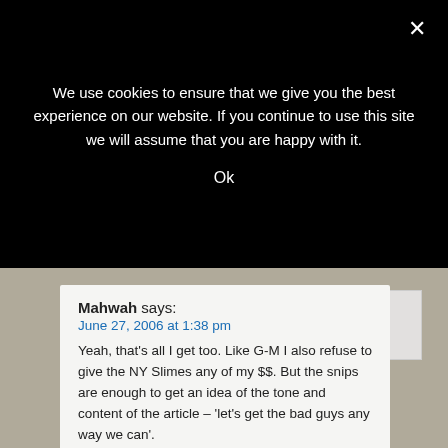We use cookies to ensure that we give you the best experience on our website. If you continue to use this site we will assume that you are happy with it.
Ok
Mahwah says:
June 27, 2006 at 1:38 pm
Yeah, that’s all I get too. Like G-M I also refuse to give the NY Slimes any of my $$. But the snips are enough to get an idea of the tone and content of the article – ‘let’s get the bad guys any way we can’.
This quote from Say Anything that Bak linked to says it all:
“It is sad how, for many on the left (including the editorial staff at the Times), the war against terror…